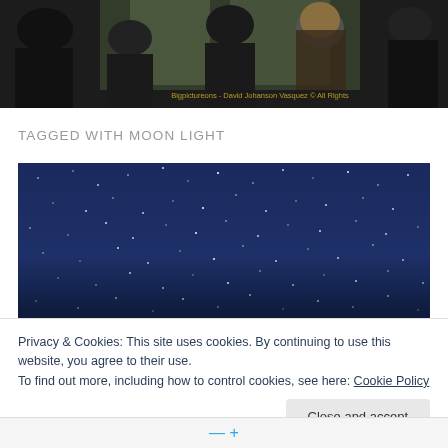[Figure (photo): Dark silhouetted figures of people standing near large glass windows, with a yellow/orange text watermark reading 'Bigpictureons - David Johanson Vasquez © All Rights']
TAGGED WITH MOON LIGHT
[Figure (photo): Night sky photo showing a dark blue sky filled with stars]
Privacy & Cookies: This site uses cookies. By continuing to use this website, you agree to their use.
To find out more, including how to control cookies, see here: Cookie Policy
Close and accept